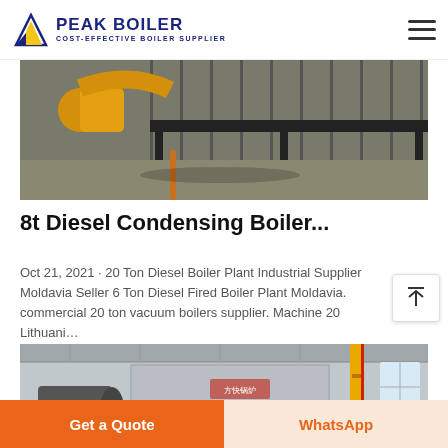PEAK BOILER COST-EFFECTIVE BOILER SUPPLIER
[Figure (photo): Industrial boiler equipment with yellow pipes and metal frame structure in a manufacturing facility]
8t Diesel Condensing Boiler...
Oct 21, 2021 · 20 Ton Diesel Boiler Plant Industrial Supplier Moldavia Seller 6 Ton Diesel Fired Boiler Plant Moldavia. commercial 20 ton vacuum boilers supplier. Machine 20 Lithuani…
[Figure (photo): Industrial boiler installation inside a large factory building with yellow vertical pipe and company signage]
Get a Quote
WhatsApp